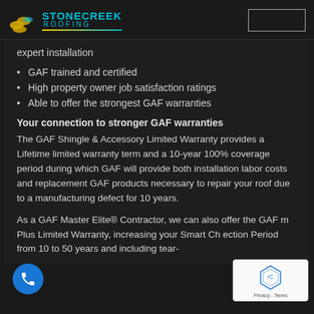[Figure (logo): Stonecreek Roofing logo with teal text and gold/teal circles icon]
expert installation
GAF trained and certified
High property owner job satisfaction ratings
Able to offer the strongest GAF warranties
Your connection to stronger GAF warranties
The GAF Shingle & Accessory Limited Warranty provides a Lifetime limited warranty term and a 10-year 100% coverage period during which GAF will provide both installation labor costs and replacement GAF products necessary to repair your roof due to a manufacturing defect for 10 years.
As a GAF Master Elite® Contractor, we can also offer the GAF m Plus Limited Warranty, increasing your Smart Ch ection Period from 10 to 50 years and including tear-